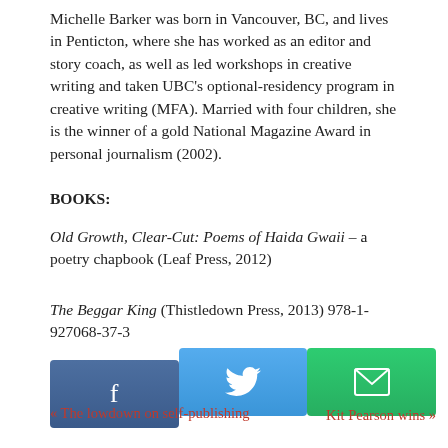Michelle Barker was born in Vancouver, BC, and lives in Penticton, where she has worked as an editor and story coach, as well as led workshops in creative writing and taken UBC’s optional-residency program in creative writing (MFA). Married with four children, she is the winner of a gold National Magazine Award in personal journalism (2002).
BOOKS:
Old Growth, Clear-Cut: Poems of Haida Gwaii – a poetry chapbook (Leaf Press, 2012)
The Beggar King (Thistledown Press, 2013) 978-1-927068-37-3
[Figure (infographic): Social sharing buttons: Facebook (dark blue), Twitter (light blue), Email (green)]
« The lowdown on self-publishing
Kit Pearson wins »